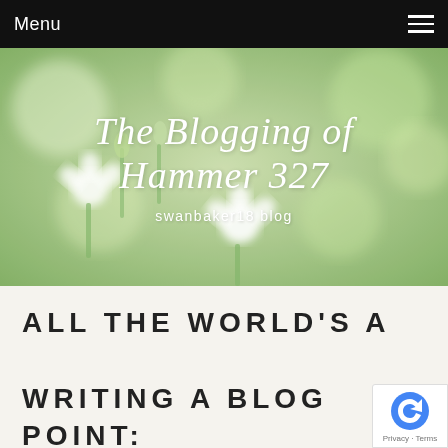Menu
[Figure (photo): Blurred background of white flowers and green foliage with overlaid blog title text]
The Blogging of Hammer 327
swanbaker18 blog
ALL THE WORLD'S A WRITING A BLOG POINT: HERE'S HOW TO MAKE IT HAPPEN CORRECT!